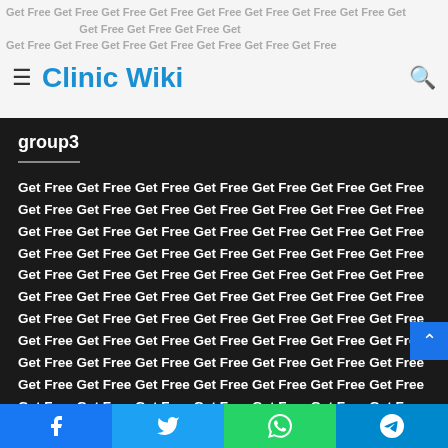Clinic Wiki
group3
Get Free Get Free Get Free Get Free Get Free Get Free Get Free Get Free Get Free Get Free Get Free Get Free Get Free Get Free Get Free Get Free Get Free Get Free Get Free Get Free Get Free Get Free Get Free Get Free Get Free Get Free Get Free Get Free Get Free Get Free Get Free Get Free Get Free Get Free Get Free Get Free Get Free Get Free Get Free Get Free Get Free Get Free Get Free Get Free Get Free Get Free Get Free Get Free Get Free Get Free Get Free Get Free Get Free Get Free Get Free Get Free Get Free Get Free Get Free Get Free Get Free Get Free Get Free Get Free Get Free Get Free Get Free Get Free Get Free Get Free Get Free Get Free Get Free Get Free Get Free Get Free Get Free Get Free Get Free Get Free Get Free Get Free Get Free Get Free Get Free Get Free Get Free Get Free